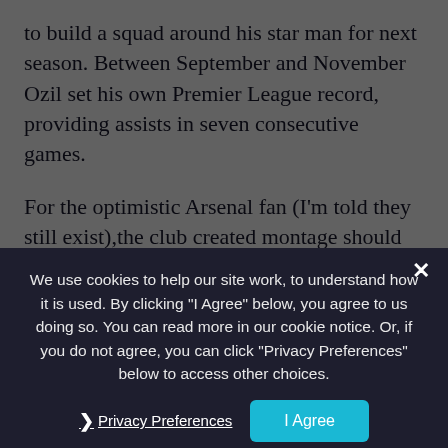to build a squad around his star man for next season. Between September and November Ozil set his own Premier League record, providing assists in seven consecutive games.
For the optimistic Arsenal fan (I'm told they still exist),the club created montage should stand as a promise of greater things to come from Ozil, rather than a testament to the near-misses and what-might-have-beens of last season.
We use cookies to help our site work, to understand how it is used. By clicking "I Agree" below, you agree to us doing so. You can read more in our cookie notice. Or, if you do not agree, you can click "Privacy Preferences" below to access other choices.
Joe Randall
Editor
The original Joe Randall.